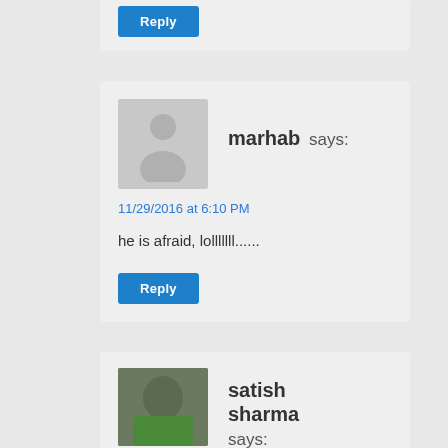Reply (button, top card)
marhab says:
11/29/2016 at 6:10 PM
he is afraid, lolllllll......
Reply
satish sharma says: